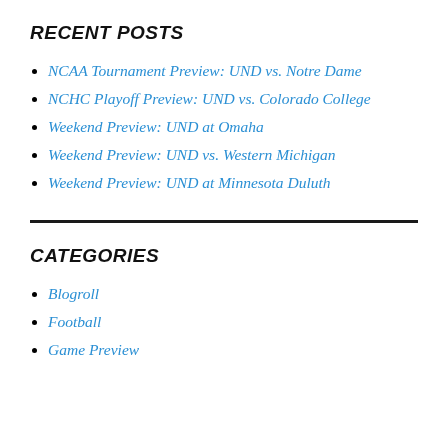RECENT POSTS
NCAA Tournament Preview: UND vs. Notre Dame
NCHC Playoff Preview: UND vs. Colorado College
Weekend Preview: UND at Omaha
Weekend Preview: UND vs. Western Michigan
Weekend Preview: UND at Minnesota Duluth
CATEGORIES
Blogroll
Football
Game Preview